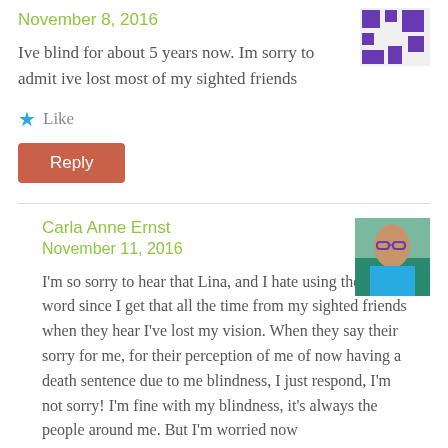November 8, 2016
Ive blind for about 5 years now. Im sorry to admit ive lost most of my sighted friends
Like
Reply
Carla Anne Ernst
November 11, 2016
I'm so sorry to hear that Lina, and I hate using the sorry word since I get that all the time from my sighted friends when they hear I've lost my vision. When they say their sorry for me, for their perception of me of now having a death sentence due to me blindness, I just respond, I'm not sorry! I'm fine with my blindness, it's always the people around me. But I'm worried now